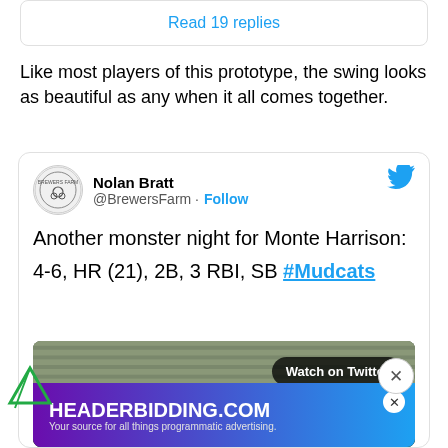Read 19 replies
Like most players of this prototype, the swing looks as beautiful as any when it all comes together.
[Figure (screenshot): Embedded tweet from @BrewersFarm (Nolan Bratt) reading: 'Another monster night for Monte Harrison: 4-6, HR (21), 2B, 3 RBI, SB #Mudcats' with a video thumbnail of a baseball game and an ad overlay for HEADERBIDDING.COM]